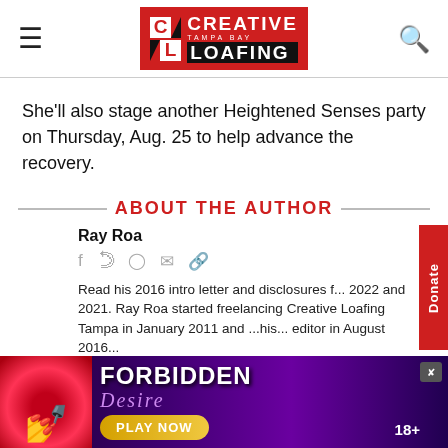Creative Loafing Tampa Bay
She'll also stage another Heightened Senses party on Thursday, Aug. 25 to help advance the recovery.
ABOUT THE AUTHOR
Ray Roa
Read his 2016 intro letter and disclosures f... 2022 and 2021. Ray Roa started freelancing... Creative Loafing Tampa in January 2011 and ...his... editor in August 2016...
[Figure (other): Forbidden Desire advertisement banner with lips image, neon text, and Play Now button. 18+.]